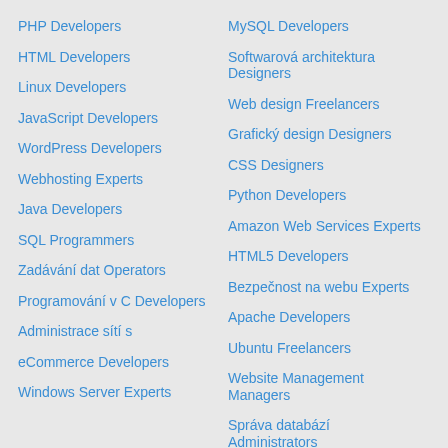PHP Developers
HTML Developers
Linux Developers
JavaScript Developers
WordPress Developers
Webhosting Experts
Java Developers
SQL Programmers
Zadávání dat Operators
Programování v C Developers
Administrace sítí s
eCommerce Developers
Windows Server Experts
MySQL Developers
Softwarová architektura Designers
Web design Freelancers
Grafický design Designers
CSS Designers
Python Developers
Amazon Web Services Experts
HTML5 Developers
Bezpečnost na webu Experts
Apache Developers
Ubuntu Freelancers
Website Management Managers
Správa databází Administrators